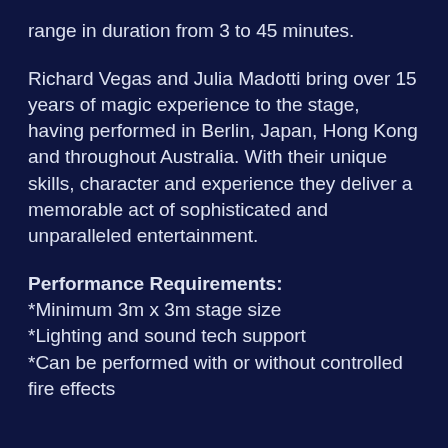range in duration from 3 to 45 minutes.
Richard Vegas and Julia Madotti bring over 15 years of magic experience to the stage, having performed in Berlin, Japan, Hong Kong and throughout Australia. With their unique skills, character and experience they deliver a memorable act of sophisticated and unparalleled entertainment.
Performance Requirements:
*Minimum 3m x 3m stage size
*Lighting and sound tech support
*Can be performed with or without controlled fire effects